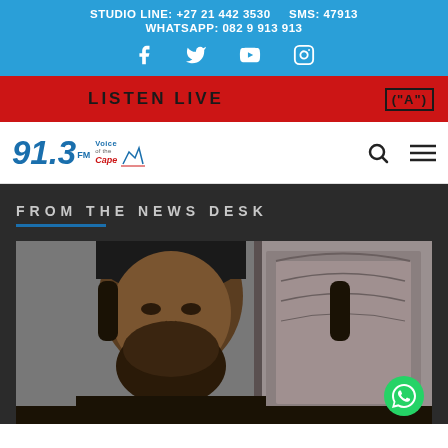STUDIO LINE: +27 21 442 3530   SMS: 47913   WHATSAPP: 082 9 913 913
LISTEN LIVE
[Figure (logo): 91.3 FM Voice of the Cape radio station logo with search and menu icons]
FROM THE NEWS DESK
[Figure (photo): A bearded man in a black turban, possibly a Middle Eastern figure, photographed against an ornate background]